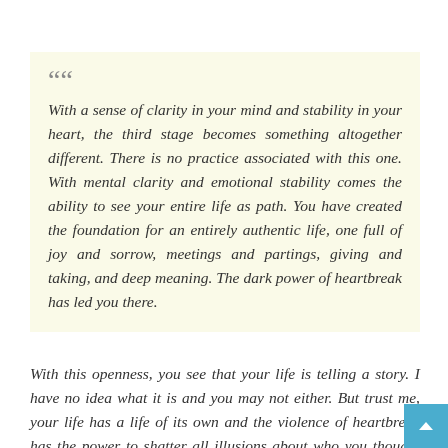With a sense of clarity in your mind and stability in your heart, the third stage becomes something altogether different. There is no practice associated with this one. With mental clarity and emotional stability comes the ability to see your entire life as path. You have created the foundation for an entirely authentic life, one full of joy and sorrow, meetings and partings, giving and taking, and deep meaning. The dark power of heartbreak has led you there.
With this openness, you see that your life is telling a story. I have no idea what it is and you may not either. But trust me, your life has a life of its own and the violence of heartbreak has the power to shatter all illusions about who you thought you were and reintroduce you, instead, to who you